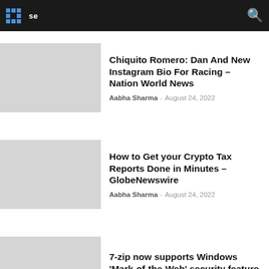se
Chiquito Romero: Dan And New Instagram Bio For Racing – Nation World News
Aabha Sharma - August 24, 2022
How to Get your Crypto Tax Reports Done in Minutes – GlobeNewswire
Aabha Sharma - August 24, 2022
7-zip now supports Windows 'Mark-of-the-Web' security feature – BleepingComputer